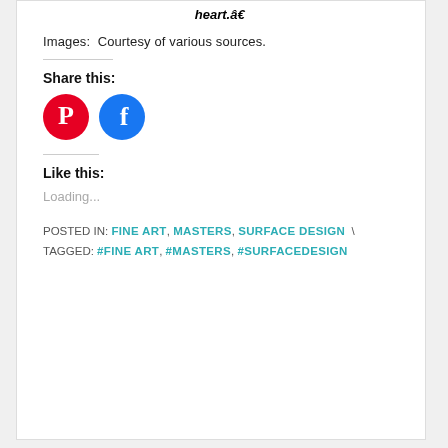heart.â€
Images:  Courtesy of various sources.
Share this:
[Figure (other): Social share buttons: Pinterest (red circle with P icon) and Facebook (blue circle with f icon)]
Like this:
Loading...
POSTED IN: FINE ART, MASTERS, SURFACE DESIGN \ TAGGED: #FINE ART, #MASTERS, #SURFACEDESIGN